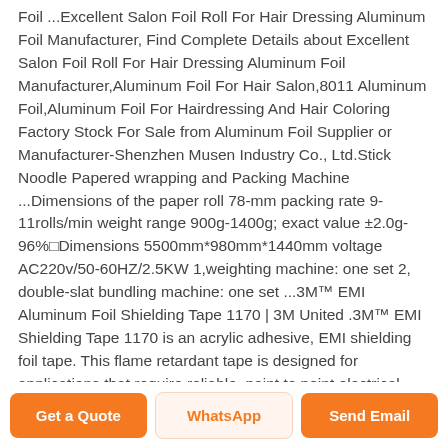Foil ...Excellent Salon Foil Roll For Hair Dressing Aluminum Foil Manufacturer, Find Complete Details about Excellent Salon Foil Roll For Hair Dressing Aluminum Foil Manufacturer,Aluminum Foil For Hair Salon,8011 Aluminum Foil,Aluminum Foil For Hairdressing And Hair Coloring Factory Stock For Sale from Aluminum Foil Supplier or Manufacturer-Shenzhen Musen Industry Co., Ltd.Stick Noodle Papered wrapping and Packing Machine ...Dimensions of the paper roll 78-mm packing rate 9-11rolls/min weight range 900g-1400g; exact value ±2.0g-96%□Dimensions 5500mm*980mm*1440mm voltage AC220v/50-60HZ/2.5KW 1,weighting machine: one set 2, double-slat bundling machine: one set ...3M™ EMI Aluminum Foil Shielding Tape 1170 | 3M United .3M™ EMI Shielding Tape 1170 is an acrylic adhesive, EMI shielding foil tape. This flame retardant tape is designed for applications that require reliable, point to point electrical contact. It comes on a removable liner for easy die cutting and
Get a Quote   WhatsApp   Send Email